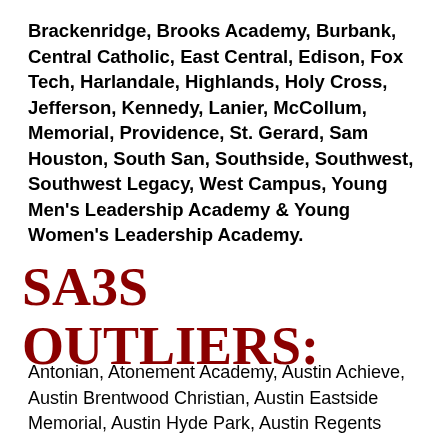Brackenridge, Brooks Academy, Burbank, Central Catholic, East Central, Edison, Fox Tech, Harlandale, Highlands, Holy Cross, Jefferson, Kennedy, Lanier, McCollum, Memorial, Providence, St. Gerard, Sam Houston, South San, Southside, Southwest, Southwest Legacy, West Campus, Young Men's Leadership Academy & Young Women's Leadership Academy.
SA3S OUTLIERS:
Antonian, Atonement Academy, Austin Achieve, Austin Brentwood Christian, Austin Eastside Memorial, Austin Hyde Park, Austin Regents